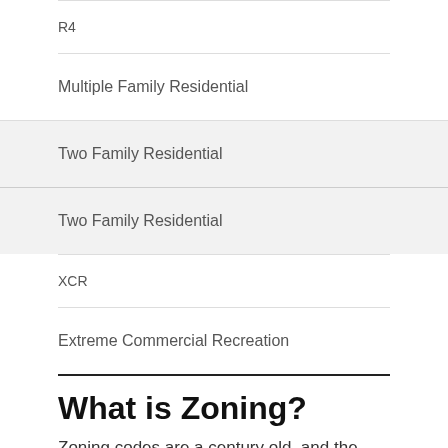| R4 |  |
| Multiple Family Residential |  |
| Two Family Residential |  |
| Two Family Residential |  |
| XCR |  |
| Extreme Commercial Recreation |  |
What is Zoning?
Zoning codes are a century old, and the lifeblood of all major U.S. cities, determining what can be built where and what activities can take place in a neighborhood. Zoning is how cities control the